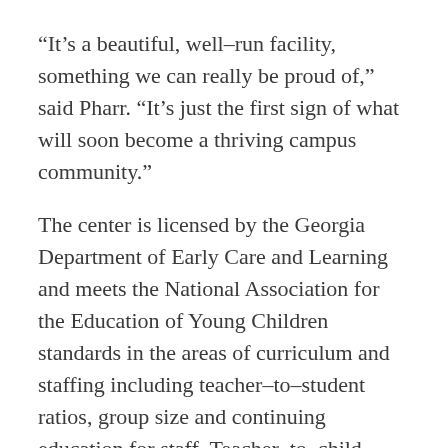“It’s a beautiful, well–run facility, something we can really be proud of,” said Pharr. “It’s just the first sign of what will soon become a thriving campus community.”
The center is licensed by the Georgia Department of Early Care and Learning and meets the National Association for the Education of Young Children standards in the areas of curriculum and staffing including teacher–to–student ratios, group size and continuing education for staff. Teacher–to–child ratios are one to four for infants, crawlers and 1–year–olds; one to six for 2–year–olds and one to seven for 3– and 4–year–olds.
“I’ve seen a lot of childcare operations in my life, both when I had children and now with grandchildren, and this is one of the very best ones—one of the best designed ones, one of the best laid out ones, one of the best equipped ones,” Adams said. “We designed this to where we exceed, significantly, state standards in every way—space, square footage, outdoor play area and number of